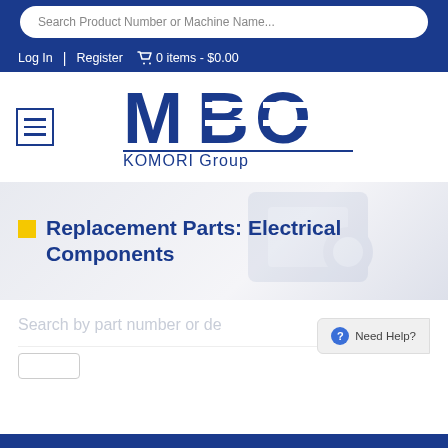Search Product Number or Machine Name...
Log In | Register  🛒 0 items - $0.00
[Figure (logo): MBO KOMORI Group logo — large bold MBO letters with horizontal lines through B and O, underline, and KOMORI Group text below]
Replacement Parts: Electrical Components
Search by part number or de...
Need Help?